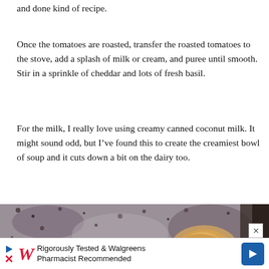and done kind of recipe.
Once the tomatoes are roasted, transfer the roasted tomatoes to the stove, add a splash of milk or cream, and puree until smooth. Stir in a sprinkle of cheddar and lots of fresh basil.
For the milk, I really love using creamy canned coconut milk. It might sound odd, but I’ve found this to create the creamiest bowl of soup and it cuts down a bit on the dairy too.
[Figure (photo): Close-up overhead photo of a roasted tomato or food item on a rustic speckled stone/ceramic surface with charred bits.]
Rigorously Tested & Walgreens Pharmacist Recommended